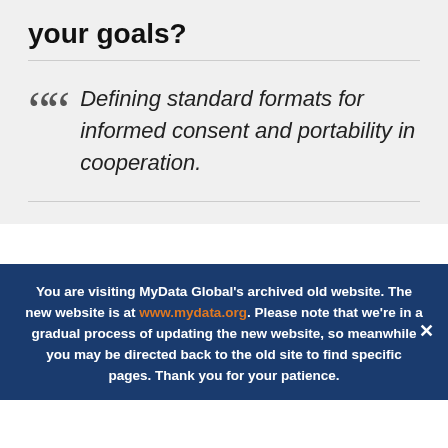your goals?
Defining standard formats for informed consent and portability in cooperation.
You are visiting MyData Global's archived old website. The new website is at www.mydata.org. Please note that we're in a gradual process of updating the new website, so meanwhile you may be directed back to the old site to find specific pages. Thank you for your patience.